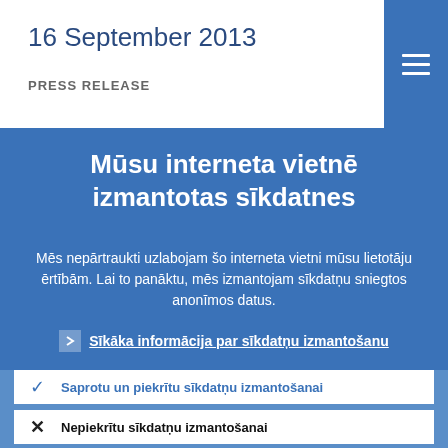16 September 2013
PRESS RELEASE
Mūsu interneta vietnē izmantotas sīkdatnes
Mēs nepārtraukti uzlabojam šo interneta vietni mūsu lietotāju ērtībām. Lai to panāktu, mēs izmantojam sīkdatņu sniegtos anonīmos datus.
Sīkāka informācija par sīkdatņu izmantošanu
Saprotu un piekrītu sīkdatņu izmantošanai
Nepiekrītu sīkdatņu izmantošanai